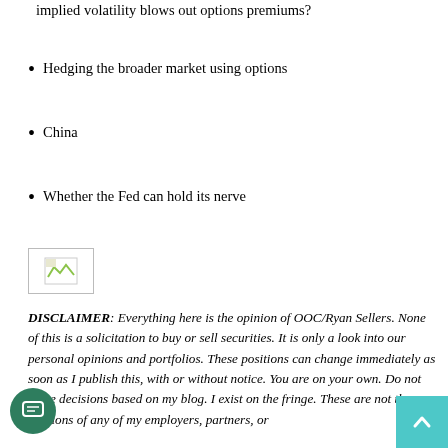How should options traders change their strategies once implied volatility blows out options premiums?
Hedging the broader market using options
China
Whether the Fed can hold its nerve
[Figure (illustration): Broken/placeholder image thumbnail]
DISCLAIMER: Everything here is the opinion of OOC/Ryan Sellers. None of this is a solicitation to buy or sell securities. It is only a look into our personal opinions and portfolios. These positions can change immediately as soon as I publish this, with or without notice. You are on your own. Do not make decisions based on my blog. I exist on the fringe. These are not the opinions of any of my employers, partners, or